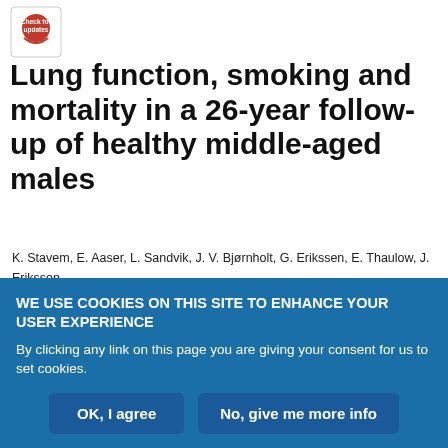[Figure (logo): Check for updates badge/seal icon in top left corner]
Lung function, smoking and mortality in a 26-year follow-up of healthy middle-aged males
K. Stavem, E. Aaser, L. Sandvik, J. V. Bjørnholt, G. Erikssen, E. Thaulow, J. Erikssen
European Respiratory Journal 2005 25: 618-625; DOI: 10.1183/09031936.05.00008504
Article | Figures & Data (tab navigation)
WE USE COOKIES ON THIS SITE TO ENHANCE YOUR USER EXPERIENCE
By clicking any link on this page you are giving your consent for us to set cookies.
OK, I agree | No, give me more info